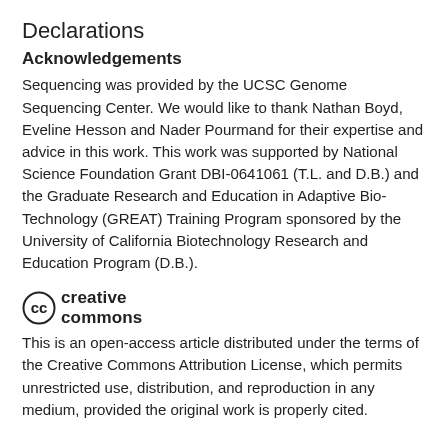Declarations
Acknowledgements
Sequencing was provided by the UCSC Genome Sequencing Center. We would like to thank Nathan Boyd, Eveline Hesson and Nader Pourmand for their expertise and advice in this work. This work was supported by National Science Foundation Grant DBI-0641061 (T.L. and D.B.) and the Graduate Research and Education in Adaptive Bio-Technology (GREAT) Training Program sponsored by the University of California Biotechnology Research and Education Program (D.B.).
[Figure (logo): Creative Commons logo with CC circle icon and 'creative commons' text in bold]
This is an open-access article distributed under the terms of the Creative Commons Attribution License, which permits unrestricted use, distribution, and reproduction in any medium, provided the original work is properly cited.